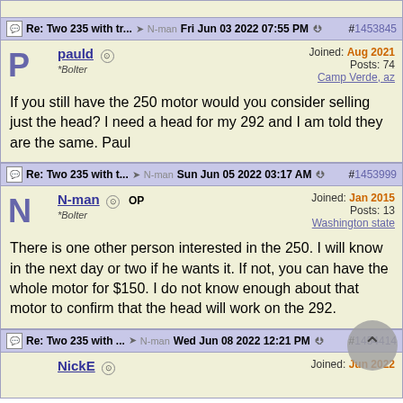Re: Two 235 with tr... → N-man  Fri Jun 03 2022 07:55 PM  #1453845
pauld  Offline
*Bolter
Joined: Aug 2021
Posts: 74
Camp Verde, az
If you still have the 250 motor would you consider selling just the head? I need a head for my 292 and I am told they are the same. Paul
Re: Two 235 with t... → N-man  Sun Jun 05 2022 03:17 AM  #1453999
N-man  Offline  OP
*Bolter
Joined: Jan 2015
Posts: 13
Washington state
There is one other person interested in the 250. I will know in the next day or two if he wants it. If not, you can have the whole motor for $150. I do not know enough about that motor to confirm that the head will work on the 292.
Re: Two 235 with ... → N-man  Wed Jun 08 2022 12:21 PM  #1454414
NickE  Offline
Joined: Jun 2022